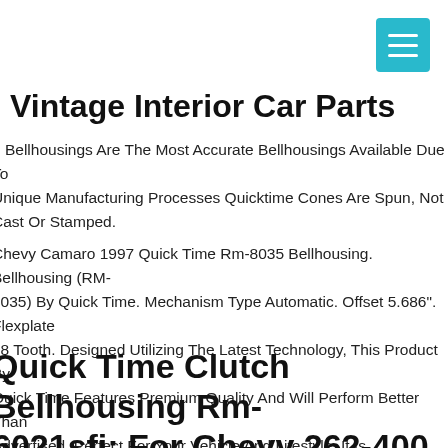[Figure (other): Teal/cyan hamburger menu button icon in top right corner]
Vintage Interior Car Parts
Bellhousings Are The Most Accurate Bellhousings Available Due To Unique Manufacturing Processes Quicktime Cones Are Spun, Not Cast Or Stamped.
Chevy Camaro 1997 Quick Time Rm-8035 Bellhousing. Bellhousing (RM-8035) By Quick Time. Mechanism Type Automatic. Offset 5.686". Flexplate 68 Tooth. Designed Utilizing The Latest Technology, This Product By Quick Time Features Premium Quality And Will Perform Better Than Advertised. Perfect For Your Vehicle And Lifestyle, It Is Manufactured To Meet Or Exceed Stringent Industry Standards.
Quick Time Clutch Bellhousing Rm-6021sfi; For Chevy 262-400 Sbc T5 Chevy